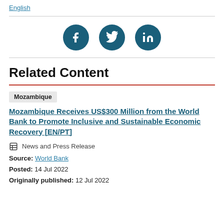English
[Figure (infographic): Three dark teal circular social media icons: Facebook (f), Twitter (bird), LinkedIn (in)]
Related Content
Mozambique  Mozambique Receives US$300 Million from the World Bank to Promote Inclusive and Sustainable Economic Recovery [EN/PT]
News and Press Release
Source: World Bank
Posted: 14 Jul 2022
Originally published: 12 Jul 2022